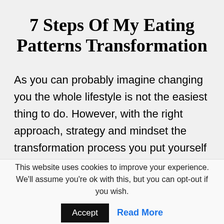7 Steps Of My Eating Patterns Transformation
As you can probably imagine changing you the whole lifestyle is not the easiest thing to do. However, with the right approach, strategy and mindset the transformation process you put yourself through can be not only doable
This website uses cookies to improve your experience. We'll assume you're ok with this, but you can opt-out if you wish.